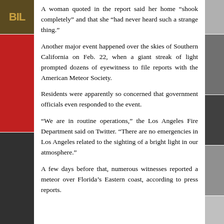A woman quoted in the report said her home “shook completely” and that she “had never heard such a strange thing.”
Another major event happened over the skies of Southern California on Feb. 22, when a giant streak of light prompted dozens of eyewitness to file reports with the American Meteor Society.
Residents were apparently so concerned that government officials even responded to the event.
“We are in routine operations,” the Los Angeles Fire Department said on Twitter. “There are no emergencies in Los Angeles related to the sighting of a bright light in our atmosphere.”
A few days before that, numerous witnesses reported a meteor over Florida’s Eastern coast, according to press reports.